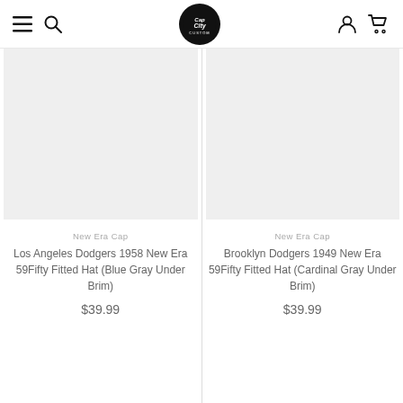Cap City Custom – navigation header with logo
[Figure (photo): Product image placeholder – light gray rectangle for Los Angeles Dodgers 1958 New Era 59Fifty Fitted Hat]
New Era Cap
Los Angeles Dodgers 1958 New Era 59Fifty Fitted Hat (Blue Gray Under Brim)
$39.99
[Figure (photo): Product image placeholder – light gray rectangle for Brooklyn Dodgers 1949 New Era 59Fifty Fitted Hat]
New Era Cap
Brooklyn Dodgers 1949 New Era 59Fifty Fitted Hat (Cardinal Gray Under Brim)
$39.99